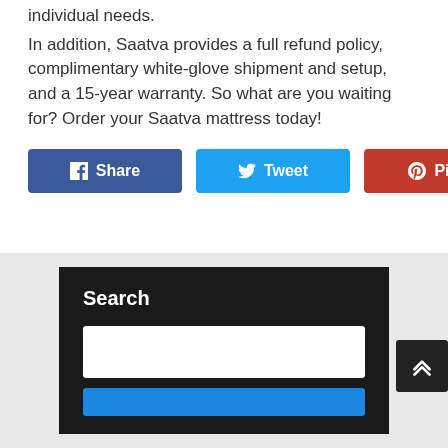individual needs.

In addition, Saatva provides a full refund policy, complimentary white-glove shipment and setup, and a 15-year warranty. So what are you waiting for? Order your Saatva mattress today!
[Figure (other): Three social share buttons: Facebook Share (dark blue), Twitter Tweet (light blue), Pinterest Pin it (red)]
Search